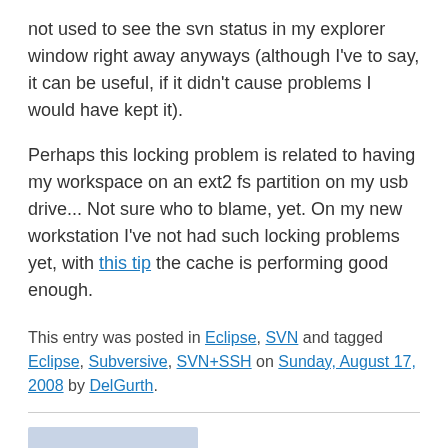not used to see the svn status in my explorer window right away anyways (although I've to say, it can be useful, if it didn't cause problems I would have kept it).
Perhaps this locking problem is related to having my workspace on an ext2 fs partition on my usb drive... Not sure who to blame, yet. On my new workstation I've not had such locking problems yet, with this tip the cache is performing good enough.
This entry was posted in Eclipse, SVN and tagged Eclipse, Subversive, SVN+SSH on Sunday, August 17, 2008 by DelGurth.
[Figure (photo): Profile photo of DelGurth, a person wearing glasses and a blue shirt]
About DelGurth